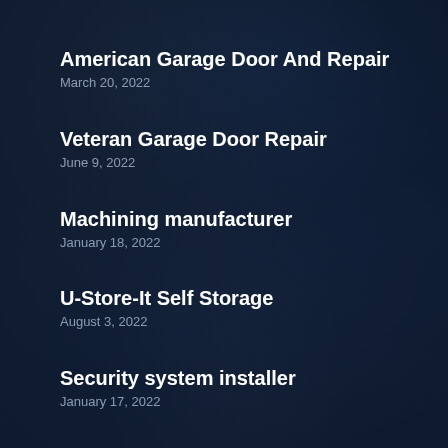American Garage Door And Repair
March 20, 2022
Veteran Garage Door Repair
June 9, 2022
Machining manufacturer
January 18, 2022
U-Store-It Self Storage
August 3, 2022
Security system installer
January 17, 2022